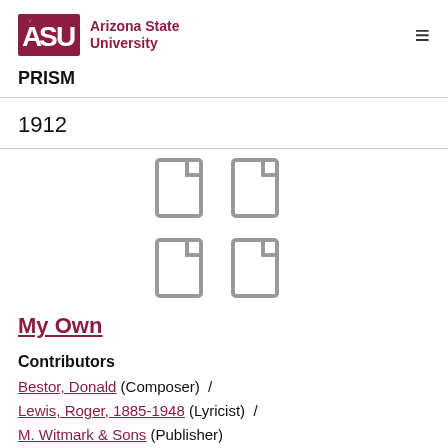[Figure (logo): Arizona State University logo with ASU text in maroon and gold, and wordmark 'Arizona State University']
PRISM
1912
[Figure (illustration): Four document/page icons arranged in a 2x2 grid, grey outline style]
My Own
Contributors
Bestor, Donald (Composer) / Lewis, Roger, 1885-1948 (Lyricist) / M. Witmark & Sons (Publisher)